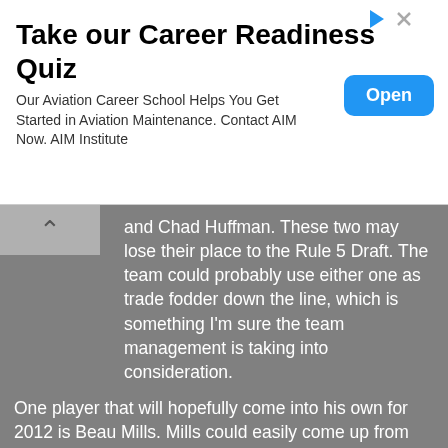[Figure (screenshot): Advertisement banner: Take our Career Readiness Quiz. Our Aviation Career School Helps You Get Started in Aviation Maintenance. Contact AIM Now. AIM Institute. Open button.]
and Chad Huffman.  These two may lose their place to the Rule 5 Draft.  The team could probably use either one as trade fodder down the line, which is something I'm sure the team management is taking into consideration.
One player that will hopefully come into his own for 2012 is Beau Mills.  Mills could easily come up from the minors to help out Matt LaPorta at first base.  He has several years' experience in the Minors and consistently bats better than .260 over the course of his MiLB career.  Last season, he moved up from Akron to Columbus, batting .300 in Akron and finishing in Columbus with a .269.  In 96 games, he had 67 RBIs on 101 hits.  He has been simmering, slowly improving and honing his skills.  If LaPorta can't stay healthy, Mills could step in and fill the job, providing the Indians don't have another name or two they are seeking out elsewhere.